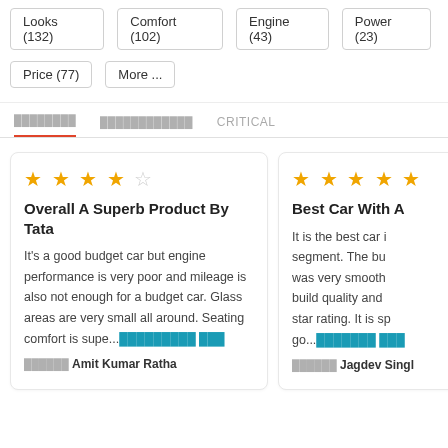Looks (132)
Comfort (102)
Engine (43)
Power (23)
Price (77)
More ...
CRITICAL
Overall A Superb Product By Tata
It's a good budget car but engine performance is very poor and mileage is also not enough for a budget car. Glass areas are very small all around. Seating comfort is supe... [read more]
Amit Kumar Ratha
Best Car With A...
It is the best car in its segment. The bu... was very smooth... build quality and... star rating. It is sp... go... [read more]
Jagdev Singh